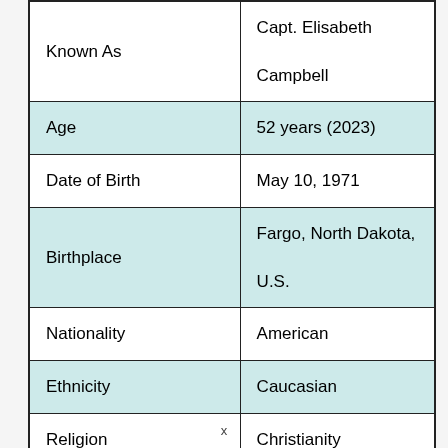| Field | Value |
| --- | --- |
| Known As | Capt. Elisabeth Campbell |
| Age | 52 years (2023) |
| Date of Birth | May 10, 1971 |
| Birthplace | Fargo, North Dakota, U.S. |
| Nationality | American |
| Ethnicity | Caucasian |
| Religion | Christianity |
x